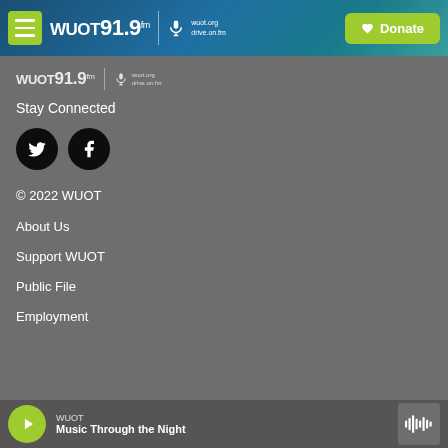WUOT 91.9 FM navigation bar with Donate button
[Figure (logo): WUOT 91.9 FM logo with microphone icon, wuot.org / drive.on.fm text]
Stay Connected
[Figure (illustration): Twitter and Facebook social media icon circles]
© 2022 WUOT
About Us
Support WUOT
Public File
Employment
WUOT — Music Through the Night (player bar)